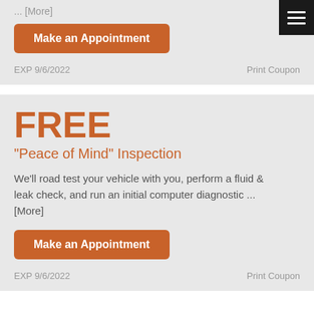... [More]
Make an Appointment
EXP 9/6/2022
Print Coupon
FREE
"Peace of Mind" Inspection
We’ll road test your vehicle with you, perform a fluid & leak check, and run an initial computer diagnostic ... [More]
Make an Appointment
EXP 9/6/2022
Print Coupon